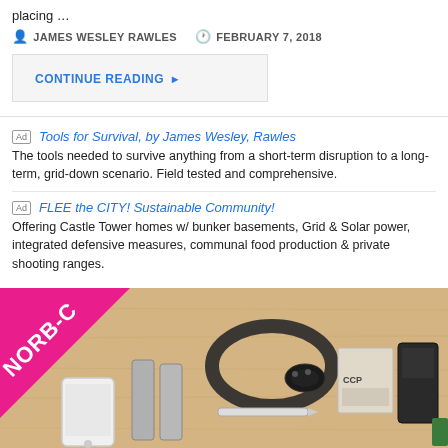placing …
JAMES WESLEY RAWLES   FEBRUARY 7, 2018
CONTINUE READING ▸
Ad   Tools for Survival, by James Wesley, Rawles
The tools needed to survive anything from a short-term disruption to a long-term, grid-down scenario. Field tested and comprehensive.
Ad   FLEE the CITY! Sustainable Community!
Offering Castle Tower homes w/ bunker basements, Grid & Solar power, integrated defensive measures, communal food production & private shooting ranges.
[Figure (photo): Photo of survival gear laid out on a wooden surface including magazines, a paracord lanyard, car key fob, a smartphone, a knife, and other items. A pink diagonal banner in the top left corner reads 'NORB-C'.]